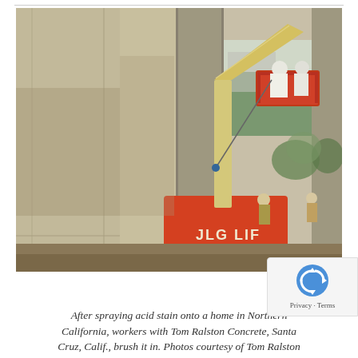[Figure (photo): Workers on a JLG lift/boom lift spraying and brushing acid stain onto large concrete wall panels of a home under construction in Northern California. The lift is orange and yellow. Workers are in white protective gear. Other workers visible in background near additional concrete panels.]
After spraying acid stain onto a home in Northern California, workers with Tom Ralston Concrete, Santa Cruz, Calif., brush it in. Photos courtesy of Tom Ralston Concrete